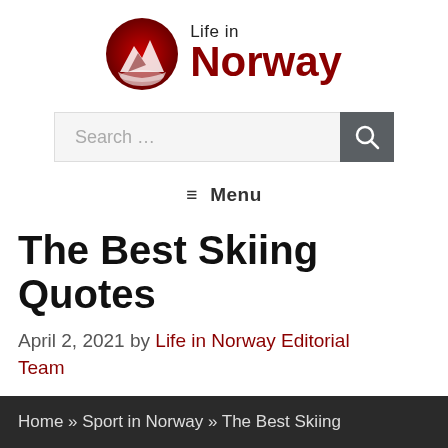[Figure (logo): Life in Norway website logo: red circle with mountain silhouette on left, text 'Life in Norway' on right with 'Norway' in large dark red bold font]
Search …
≡ Menu
The Best Skiing Quotes
April 2, 2021 by Life in Norway Editorial Team
Home » Sport in Norway » The Best Skiing